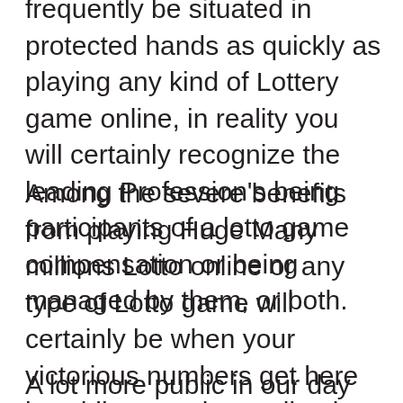frequently be situated in protected hands as quickly as playing any kind of Lottery game online, in reality you will certainly recognize the leading Profession's being participants of a lotto game compensation or being managed by them, or both.
Among the severe benefits from playing Huge Many millions Lotto online or any type of Lotto game will certainly be when your victorious numbers get here in, whilst you play on-line it will certainly not be required to take your ticket to the command business of the lotto you took setting in as you might state your payouts made up right into the count on account of your choice.
A lot more public in our day are ending [link text]